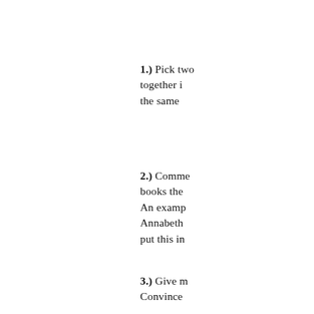1.) Pick two books together in the same
2.) Comment books the An example Annabeth put this in
3.) Give m Convince